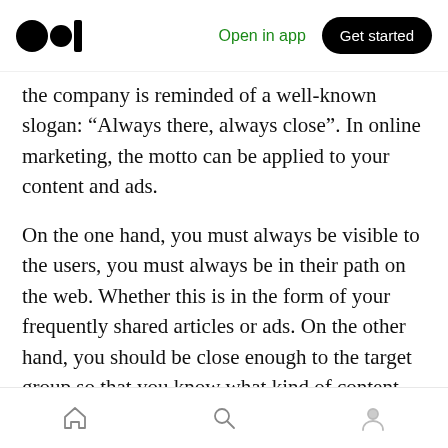Medium logo | Open in app | Get started
the company is reminded of a well-known slogan: “Always there, always close”. In online marketing, the motto can be applied to your content and ads.
On the one hand, you must always be visible to the users, you must always be in their path on the web. Whether this is in the form of your frequently shared articles or ads. On the other hand, you should be close enough to the target group so that you know what kind of content appeals to them and represents relevance, even added value, for the users.
Home | Search | Profile